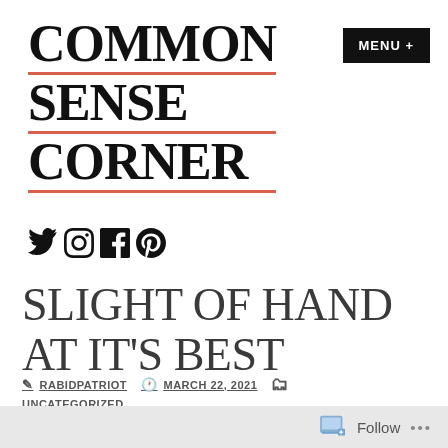COMMON SENSE CORNER
[Figure (other): Navigation menu button with black background reading MENU +]
[Figure (other): Social media icons: Twitter, Instagram, Facebook, Pinterest]
SLIGHT OF HAND AT IT'S BEST
RABIDPATRIOT   MARCH 22, 2021   [folder icon]
UNCATEGORIZED
[Figure (other): Bottom WordPress Follow bar with follow icon and ellipsis]